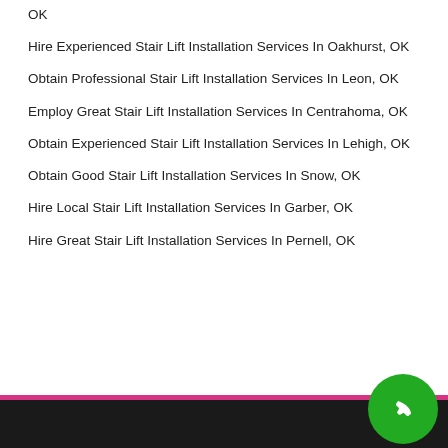Hire Experienced Stair Lift Installation Services In Oakhurst, OK
Obtain Professional Stair Lift Installation Services In Leon, OK
Employ Great Stair Lift Installation Services In Centrahoma, OK
Obtain Experienced Stair Lift Installation Services In Lehigh, OK
Obtain Good Stair Lift Installation Services In Snow, OK
Hire Local Stair Lift Installation Services In Garber, OK
Hire Great Stair Lift Installation Services In Pernell, OK